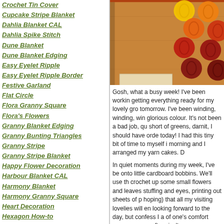Crochet Tin Cover
Cupcake Stripe Blanket
Dahlia Blanket CAL
Dahlia Spike Stitch
Dune Blanket
Dune Blanket Edging
Easy Eyelet Ripple
Easy Eyelet Ripple Border
Festive Garland
Flat Circle
Flora Granny Square
Flora's Flowers
Granny Blanket Edging
Granny Bunting Triangles
Granny Stripe
Granny Stripe Blanket
Happy Flower Decoration
Harbour Blanket CAL
Harmony Blanket
Harmony Granny Square
Heart Decoration
Hexagon How-to
Hydrangea Flowers
Hydrangea Stripe Blanket
Japanese Quince Flower
Joining Granny Squares
[Figure (photo): Photo of yarn cakes/balls arranged on a wooden surface; colors range from yellow-orange to deep red.]
Gosh, what a busy week! I've been working getting everything ready for my lovely gro tomorrow. I've been winding, winding, win glorious colour. It's not been a bad job, qu short of greens, darnit, I should have orde today! I had this tiny bit of time to myself i morning and I arranged my yarn cakes. D
In quiet moments during my week, I've be onto little cardboard bobbins. We'll use th crochet up some small flowers and leaves stuffing and eyes, printing out sheets of p hoping) that all my visiting lovelies will en looking forward to the day, but confess I a of one's comfort zone every so often, isn't
xxxxxxxxxxxxxxxxxxxxxxxxxx